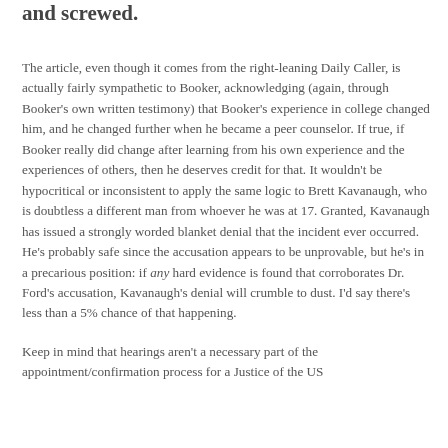and screwed.
The article, even though it comes from the right-leaning Daily Caller, is actually fairly sympathetic to Booker, acknowledging (again, through Booker's own written testimony) that Booker's experience in college changed him, and he changed further when he became a peer counselor. If true, if Booker really did change after learning from his own experience and the experiences of others, then he deserves credit for that. It wouldn't be hypocritical or inconsistent to apply the same logic to Brett Kavanaugh, who is doubtless a different man from whoever he was at 17. Granted, Kavanaugh has issued a strongly worded blanket denial that the incident ever occurred. He's probably safe since the accusation appears to be unprovable, but he's in a precarious position: if any hard evidence is found that corroborates Dr. Ford's accusation, Kavanaugh's denial will crumble to dust. I'd say there's less than a 5% chance of that happening.
Keep in mind that hearings aren't a necessary part of the appointment/confirmation process for a Justice of the US